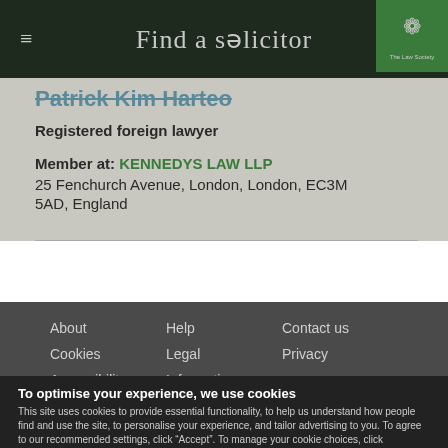Find a solicitor
Patrick Kim Harteo
Registered foreign lawyer
Member at: KENNEDYS LAW LLP
25 Fenchurch Avenue, London, London, EC3M 5AD, England
About    Help    Contact us    Cookies    Legal    Privacy    Accessibility    Information Sources
To optimise your experience, we use cookies
This site uses cookies to provide essential functionality, to help us understand how people find and use the site, to personalise your experience, and tailor advertising to you. To agree to our recommended settings, click “Accept”. To manage your cookie choices, click “Settings”.